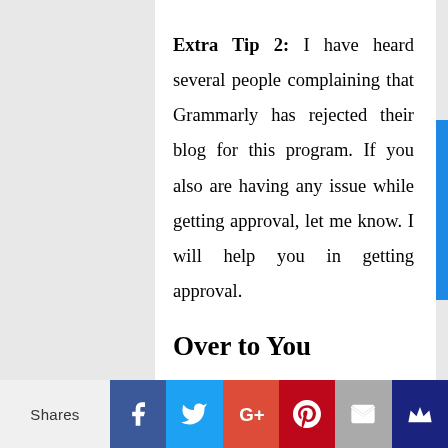Extra Tip 2: I have heard several people complaining that Grammarly has rejected their blog for this program. If you also are having any issue while getting approval, let me know. I will help you in getting approval.
Over to You
There are several methods to earn money online like AdSense, direct
Shares